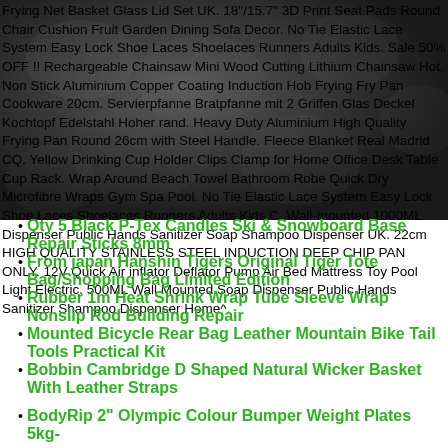[Figure (photo): Dark background image of what appears to be a textured surface, partially visible behind overlaid product listing text.]
Frying Net Basket Glass Lid Set UK. 18"/15.7" 3D Print Seat Pads Round Chair Cushion Fruit Garden Dining Sofa Decor. No Tie Elastic Lace System Easy Lock Shoe Laces Shoelaces Runners Adults Kids. Sale 50% OFF !! Rechargeable Chainsaw Mini Wood Cutting Lithium Chainsaw Hot. Non Stick Aluminium Copper Coating Induction Hob Frying Fry Pan Cookware 20cm. Servierpfanne Bratpfanne mit 2 Griffen Glas Deckel Kochtopf Edelstahl Hoher rand. Heavy Duty Aluminium High Quality Frying Pan Round 26cm with Steel Handle. Fleece Blanket Real Madrid CQ. Yellow Drinking Cup Holder Clips Clamp for Home Office Desk Table Cup Rack. Wrap Around Beach Towel Bathroom Robe Quick Dry Microfibre Wraps Gym Spa Pool. No Tie Elastic Lace System Easy Lock Shoe Laces Shoelaces Runners Adults Kids C. Wall-mounted 1000ML Dispenser Public Hands Sanitizer Soap Shampoo Dispenser UK. 22cm HIGH QUALITY STAINLESS STEEL INDUCTION DEEP CHIP PAN ONLY. 12V Quick Air inflator Deflator Pump Air Bed Mattress Toy Pool Light Electric. 500ML Wall Mounted Soap Dispenser Public Hands Sanitizer Shampoo Dispenser Home^.
Qty 5 Black P-Tex Candles Ski & Snowboard Base Repair Sticks 8mm
From japan Hanshin Tigers Original Tiger Tote Bag/Shopping Bag Limited Edition
Rubber 1m Heat Shrink Wrap Tube Sleeve Wrap Nonslip Rod Building Repair
Mounted Bicycle Rear Bag Leather Mountain Bike Tail Tools Practical Kit
Bobbin Cambridge D Shaped Natural Wicker Basket With Leather Straps
BodyRip 2" Olympic Colour Bumper Weight Plates 5kg-